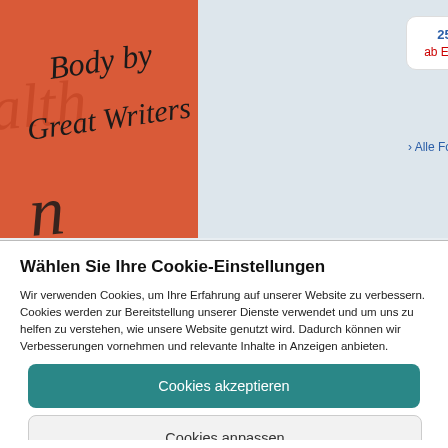[Figure (illustration): Book cover with orange/red background showing handwritten text 'Body by Great Writers' with partial word starting with 'alth' visible on left]
25 Neu
ab EUR 9.19
3 Gebraucht
ab EUR 7.12
› Alle Formate und Ausgaben:
Wählen Sie Ihre Cookie-Einstellungen
Wir verwenden Cookies, um Ihre Erfahrung auf unserer Website zu verbessern. Cookies werden zur Bereitstellung unserer Dienste verwendet und um uns zu helfen zu verstehen, wie unsere Website genutzt wird. Dadurch können wir Verbesserungen vornehmen und relevante Inhalte in Anzeigen anbieten.
Cookies akzeptieren
Cookies anpassen